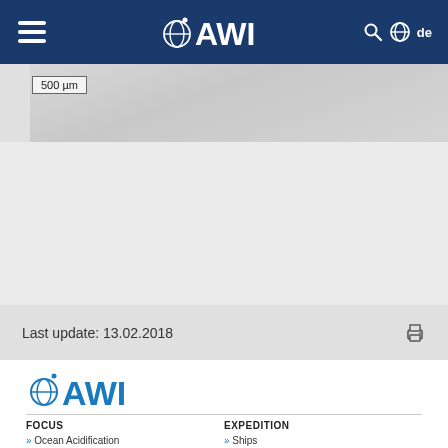AWI navigation bar with logo, hamburger menu, search and language switcher
[Figure (photo): Microscope image with scale bar showing 500 µm]
Last update: 13.02.2018
[Figure (logo): AWI (Alfred Wegener Institut) logo in blue]
FOCUS
» Ocean Acidification
» Sea ice
» Permafrost
» Marine Litter
EXPEDITION
» Ships
» Stations
» Aircraft
» Laboratories